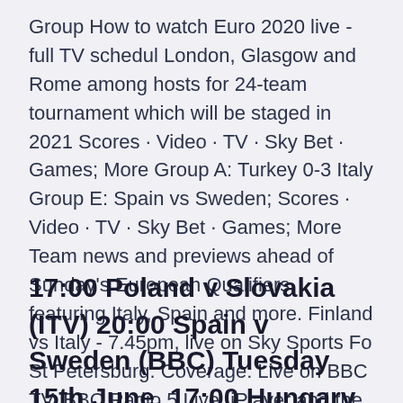Group How to watch Euro 2020 live - full TV schedul London, Glasgow and Rome among hosts for 24-team tournament which will be staged in 2021 Scores · Video · TV · Sky Bet · Games; More Group A: Turkey 0-3 Italy Group E: Spain vs Sweden; Scores · Video · TV · Sky Bet · Games; More Team news and previews ahead of Sunday's European Qualifiers, featuring Italy, Spain and more. Finland vs Italy - 7.45pm, live on Sky Sports Fo St Petersburg. Coverage: Live on BBC TV, BBC Radio 5 Live, iPlayer and the BBC Sport website and app.
17:00 Poland v Slovakia (ITV) 20:00 Spain v Sweden (BBC) Tuesday 15th June. 17:00 Hungary v Portugal (ITV) 20:00 France v